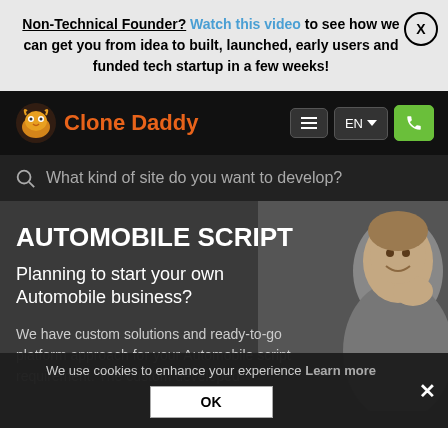Non-Technical Founder? Watch this video to see how we can get you from idea to built, launched, early users and funded tech startup in a few weeks!
[Figure (logo): Clone Daddy logo with orange cartoon character and orange text 'Clone Daddy' on black navbar]
What kind of site do you want to develop?
AUTOMOBILE SCRIPT
Planning to start your own Automobile business?
We have custom solutions and ready-to-go platform approach for your Automobile script requirement. The custom developed
We use cookies to enhance your experience Learn more